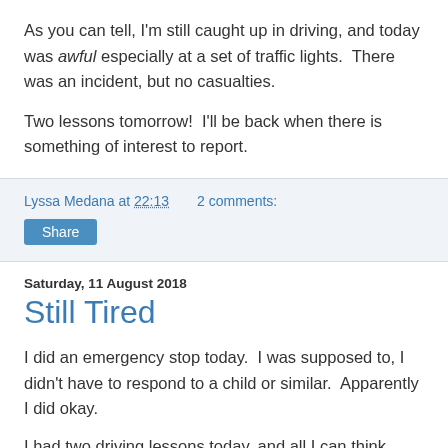As you can tell, I'm still caught up in driving, and today was awful especially at a set of traffic lights.  There was an incident, but no casualties.
Two lessons tomorrow!  I'll be back when there is something of interest to report.
Lyssa Medana at 22:13    2 comments:
Share
Saturday, 11 August 2018
Still Tired
I did an emergency stop today.  I was supposed to, I didn't have to respond to a child or similar.  Apparently I did okay.
I had two driving lessons today, and all I can think about is feeder lanes and signals and clutch control.  I'll be back later when I have something more interesting to talk about.